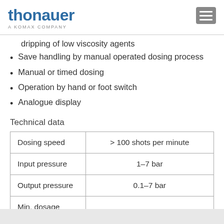thonauer — A KOMAX COMPANY
dripping of low viscosity agents
Save handling by manual operated dosing process
Manual or timed dosing
Operation by hand or foot switch
Analogue display
Technical data
|  |  |
| --- | --- |
| Dosing speed | > 100 shots per minute |
| Input pressure | 1–7 bar |
| Output pressure | 0.1–7 bar |
| Min. dosage |  |